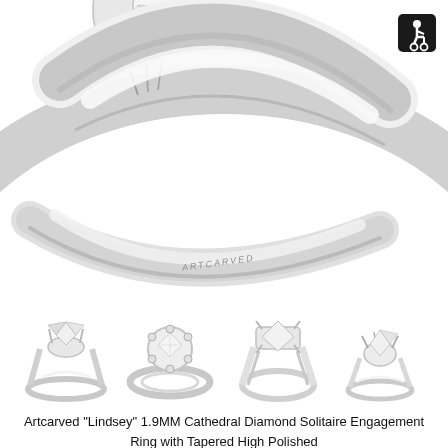[Figure (photo): Close-up macro photograph of a silver/white gold solitaire engagement ring showing the ARTCARVED brand engraving on the band, with an accessibility icon in the top right corner]
[Figure (photo): Four thumbnail views of the Artcarved Lindsey engagement ring from different angles: side view, top/face-up view, front view, and three-quarter angled view]
Artcarved "Lindsey" 1.9MM Cathedral Diamond Solitaire Engagement Ring with Tapered High Polished